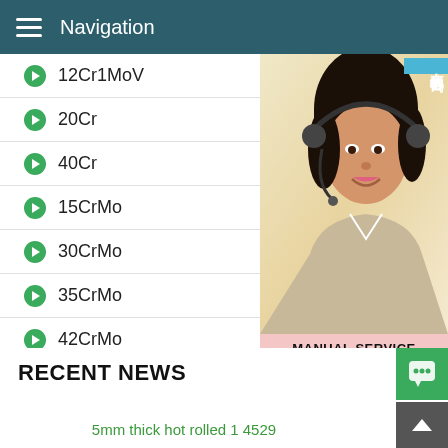Navigation
12Cr1MoV
20Cr
40Cr
15CrMo
30CrMo
35CrMo
42CrMo
[Figure (photo): Woman wearing headset, customer service representative, with Chinese text badge '在线咨询' (Online Consultation), and text overlays: MANUAL SERVICE, QUOTING ONLINE, Email: bsteel1@163.com]
RECENT NEWS
5mm thick hot rolled 1 4529